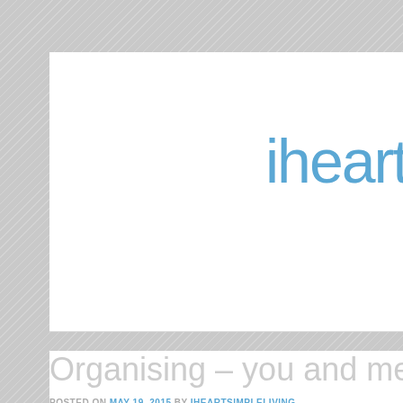ihearts
Organising – you and me are brea
POSTED ON MAY 19, 2015 BY IHEARTSIMPLELIVING
Privacy & Cookies: This site uses cookies. By continuing to use this website, you agree to their use.
To find out more, including how to control cookies, see here: Cookie Policy
Close and accept
living; and I went down the latter path. I'm nowhere near as ady